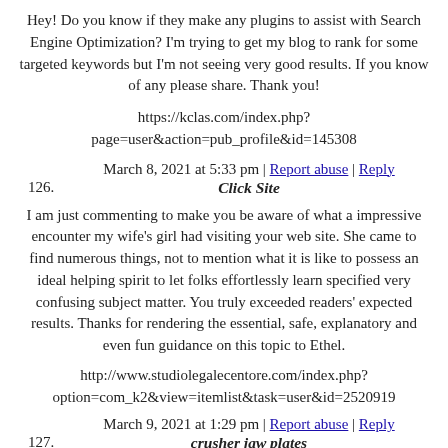Hey! Do you know if they make any plugins to assist with Search Engine Optimization? I'm trying to get my blog to rank for some targeted keywords but I'm not seeing very good results. If you know of any please share. Thank you!
https://kclas.com/index.php?page=user&action=pub_profile&id=145308
March 8, 2021 at 5:33 pm | Report abuse | Reply
126. Click Site
I am just commenting to make you be aware of what a impressive encounter my wife's girl had visiting your web site. She came to find numerous things, not to mention what it is like to possess an ideal helping spirit to let folks effortlessly learn specified very confusing subject matter. You truly exceeded readers' expected results. Thanks for rendering the essential, safe, explanatory and even fun guidance on this topic to Ethel.
http://www.studiolegalecentore.com/index.php?option=com_k2&view=itemlist&task=user&id=2520919
March 9, 2021 at 1:29 pm | Report abuse | Reply
127. crusher jaw plates